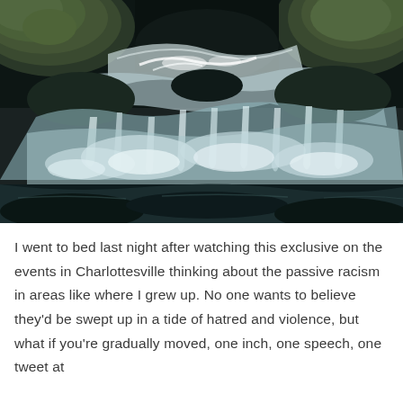[Figure (photo): A waterfall flowing over dark rocks covered in green moss, with white rushing water in the foreground and mossy boulders in the background.]
I went to bed last night after watching this exclusive on the events in Charlottesville thinking about the passive racism in areas like where I grew up. No one wants to believe they'd be swept up in a tide of hatred and violence, but what if you're gradually moved, one inch, one speech, one tweet at